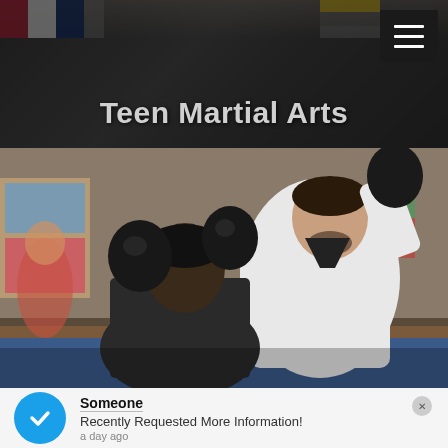Teen Martial Arts
[Figure (photo): A martial arts instructor in a white gi working with a student wearing black sparring gloves in a dojo setting. Flags and posters visible in the background.]
Someone
Recently Requested More Information!
a day ago